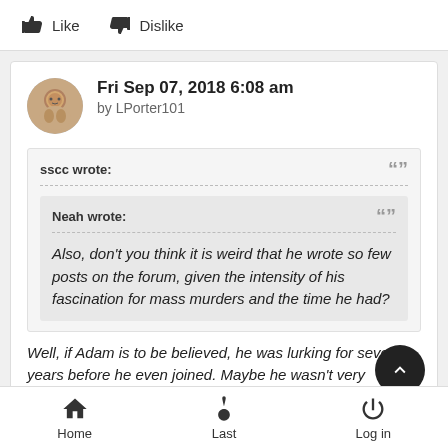Like  Dislike
Fri Sep 07, 2018 6:08 am
by LPorter101
sscc wrote:
Neah wrote:
Also, don't you think it is weird that he wrote so few posts on the forum, given the intensity of his fascination for mass murders and the time he had?
Well, if Adam is to be believed, he was lurking for several years before he even joined. Maybe he wasn't very
Home  Last  Log in